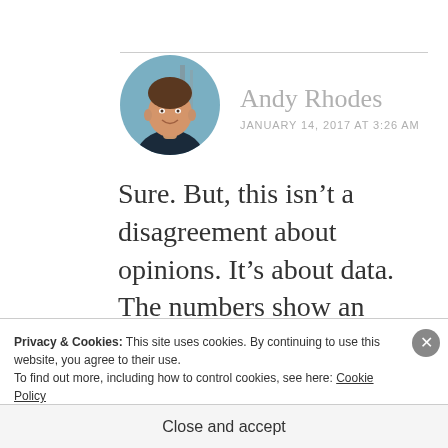[Figure (photo): Circular avatar photo of Andy Rhodes, a man smiling outdoors with a structure visible in background]
Andy Rhodes
JANUARY 14, 2017 AT 3:26 AM
Sure. But, this isn’t a disagreement about opinions. It’s about data. The numbers show an unprecedented and radical decline over a long period of time.
Privacy & Cookies: This site uses cookies. By continuing to use this website, you agree to their use.
To find out more, including how to control cookies, see here: Cookie Policy
Close and accept